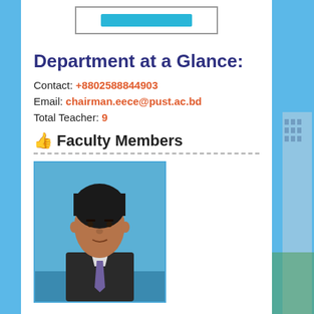[Figure (other): Top partial view of a navigation bar or banner with a cyan/teal highlighted button area]
Department at a Glance:
Contact: +8802588844903
Email: chairman.eece@pust.ac.bd
Total Teacher: 9
Faculty Members
[Figure (photo): Portrait photo of a male faculty member wearing a dark suit and tie, against a blue background]